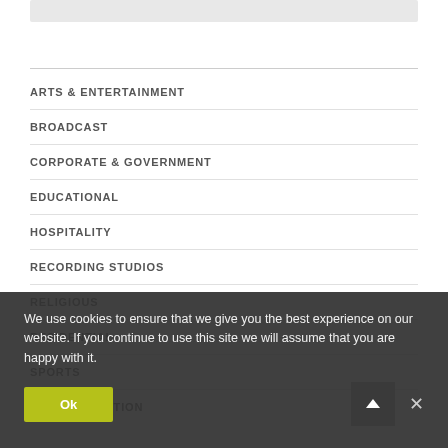ARTS & ENTERTAINMENT
BROADCAST
CORPORATE & GOVERNMENT
EDUCATIONAL
HOSPITALITY
RECORDING STUDIOS
RELIGIOUS
RESIDENTIAL
SPORTS
TRANSPORTATION
We use cookies to ensure that we give you the best experience on our website. If you continue to use this site we will assume that you are happy with it.